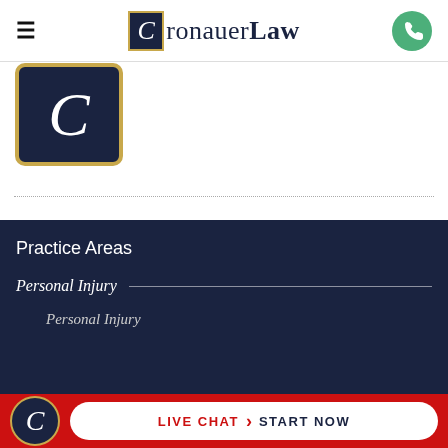CronauerLaw navigation bar with logo and phone button
[Figure (logo): CronauerLaw large C logo icon in dark navy box with gold border]
LEAVE A COMMENT
Practice Areas
Personal Injury
Personal Injury
[Figure (logo): CronauerLaw C logo circle in bottom live chat bar]
LIVE CHAT START NOW